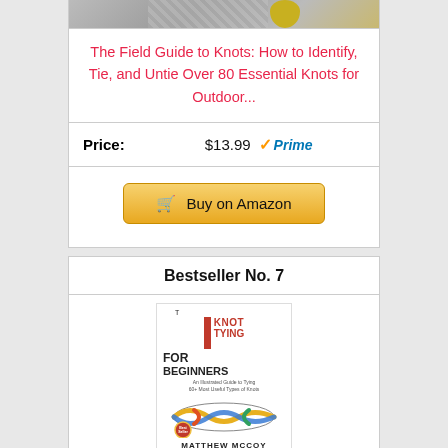[Figure (photo): Partial book cover image at top of page, cropped]
The Field Guide to Knots: How to Identify, Tie, and Untie Over 80 Essential Knots for Outdoor...
Price: $13.99 ✓Prime
Buy on Amazon
Bestseller No. 7
[Figure (photo): Book cover for 'Knot Tying for Beginners' by Matthew McCoy, showing the title text, a red vertical bar accent, a colorful rope knot image, and a bestseller badge]